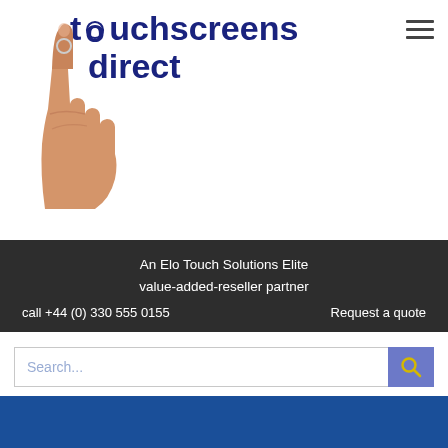[Figure (logo): Touchscreens Direct logo with hand pointing finger icon and dark blue text reading 'touchscreens direct' with hamburger menu icon]
An Elo Touch Solutions Elite value-added-reseller partner
call +44 (0) 330 555 0155    Request a quote
[Figure (screenshot): Search input field with placeholder 'Search...' and a blue/purple search button with magnifying glass icon]
POINT-OF-SALE SOLUTIONS